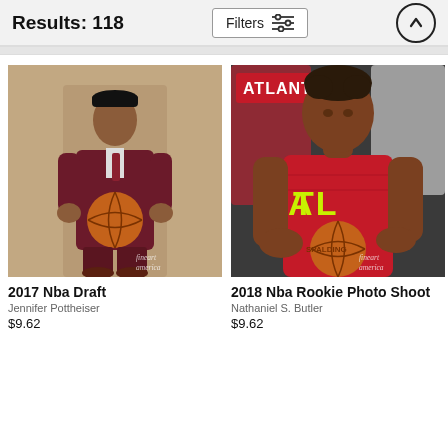Results: 118
[Figure (screenshot): Filters button with sliders icon]
[Figure (photo): NBA Draft 2017 player in maroon suit holding basketball]
2017 Nba Draft
Jennifer Pottheiser
$9.62
[Figure (photo): 2018 NBA Rookie Photo Shoot player in Atlanta Hawks red jersey holding basketball]
2018 Nba Rookie Photo Shoot
Nathaniel S. Butler
$9.62